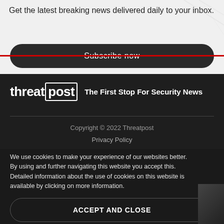Get the latest breaking news delivered daily to your inbox.
Subscribe now
[Figure (logo): Threatpost logo with tagline: The First Stop For Security News]
Copyright © 2022 Threatpost
Privacy Policy
We use cookies to make your experience of our websites better. By using and further navigating this website you accept this. Detailed information about the use of cookies on this website is available by clicking on more information.
ACCEPT AND CLOSE